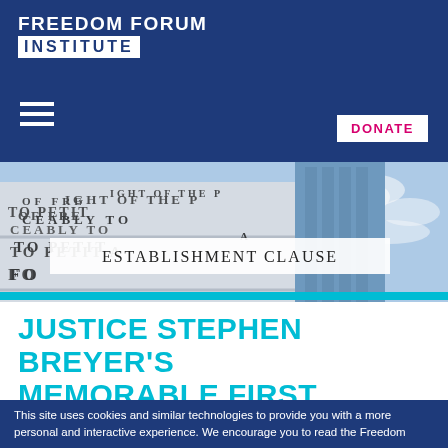FREEDOM FORUM INSTITUTE
[Figure (photo): Exterior of a building with First Amendment text engraved on stone panels, partially visible words: 'OF FRE... LIGHT OF THE P... CEABLY TO PET... TO PETIT A... FO...' with blue sky in background]
ESTABLISHMENT CLAUSE
JUSTICE STEPHEN BREYER'S MEMORABLE FIRST AMENDMENT PASSAGES
This site uses cookies and similar technologies to provide you with a more personal and interactive experience. We encourage you to read the Freedom